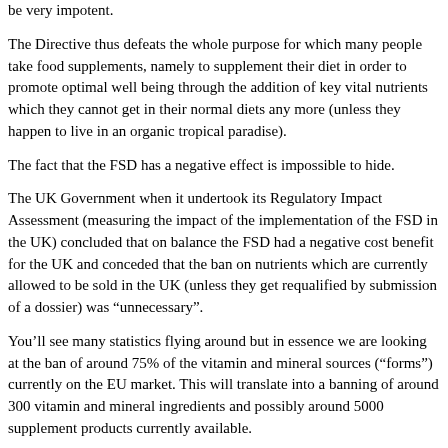be very impotent.
The Directive thus defeats the whole purpose for which many people take food supplements, namely to supplement their diet in order to promote optimal well being through the addition of key vital nutrients which they cannot get in their normal diets any more (unless they happen to live in an organic tropical paradise).
The fact that the FSD has a negative effect is impossible to hide.
The UK Government when it undertook its Regulatory Impact Assessment (measuring the impact of the implementation of the FSD in the UK) concluded that on balance the FSD had a negative cost benefit for the UK and conceded that the ban on nutrients which are currently allowed to be sold in the UK (unless they get requalified by submission of a dossier) was "unnecessary".
You'll see many statistics flying around but in essence we are looking at the ban of around 75% of the vitamin and mineral sources ("forms") currently on the EU market. This will translate into a banning of around 300 vitamin and mineral ingredients and possibly around 5000 supplement products currently available.
Now remember, if this is what is happening to vitamins and minerals now what will happen to all other nutrients in the future?
Keep well in mind the 3 FSD bogey men:
The reversal of the burden of proof